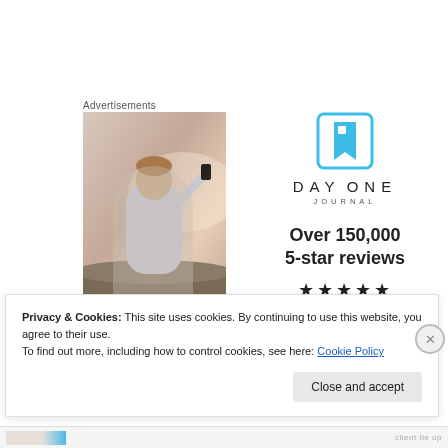Advertisements
[Figure (photo): Person photographing sunset with smartphone, viewed from behind, wearing white t-shirt]
[Figure (logo): Day One Journal logo: blue bookmark icon with DAYONE JOURNAL text, Over 150,000 5-star reviews, five black stars]
Privacy & Cookies: This site uses cookies. By continuing to use this website, you agree to their use.
To find out more, including how to control cookies, see here: Cookie Policy
Close and accept